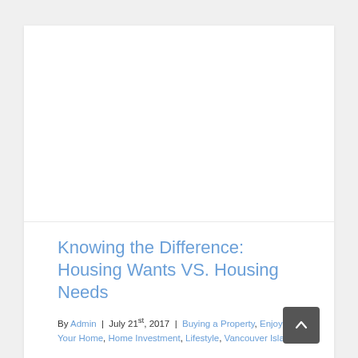[Figure (photo): Large white/blank image area at top of card]
Knowing the Difference: Housing Wants VS. Housing Needs
By Admin | July 21st, 2017 | Buying a Property, Enjoying Your Home, Home Investment, Lifestyle, Vancouver Island